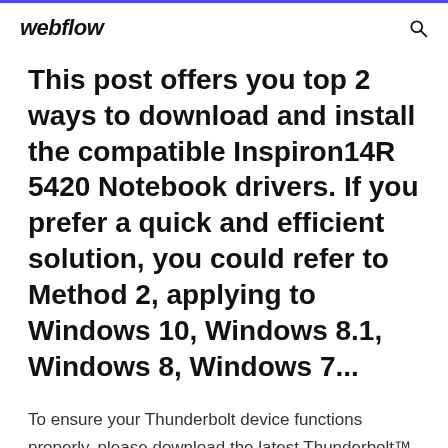webflow
This post offers you top 2 ways to download and install the compatible Inspiron14R 5420 Notebook drivers. If you prefer a quick and efficient solution, you could refer to Method 2, applying to Windows 10, Windows 8.1, Windows 8, Windows 7...
To ensure your Thunderbolt device functions properly, please download the latest Thunderbolt™ drivers to the latest versions at